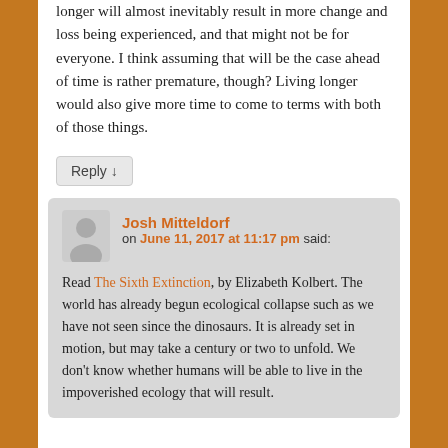longer will almost inevitably result in more change and loss being experienced, and that might not be for everyone. I think assuming that will be the case ahead of time is rather premature, though? Living longer would also give more time to come to terms with both of those things.
Reply ↓
Josh Mitteldorf
on June 11, 2017 at 11:17 pm said:
Read The Sixth Extinction, by Elizabeth Kolbert. The world has already begun ecological collapse such as we have not seen since the dinosaurs. It is already set in motion, but may take a century or two to unfold. We don't know whether humans will be able to live in the impoverished ecology that will result.